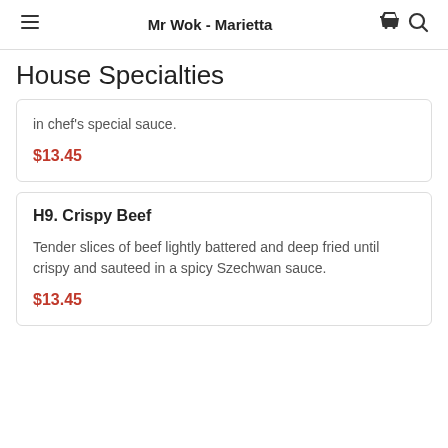Mr Wok - Marietta
House Specialties
in chef's special sauce.
$13.45
H9. Crispy Beef
Tender slices of beef lightly battered and deep fried until crispy and sauteed in a spicy Szechwan sauce.
$13.45